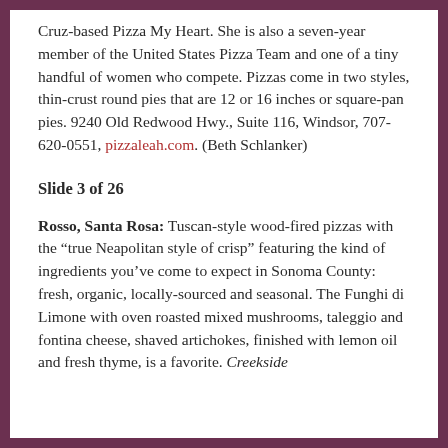Cruz-based Pizza My Heart. She is also a seven-year member of the United States Pizza Team and one of a tiny handful of women who compete. Pizzas come in two styles, thin-crust round pies that are 12 or 16 inches or square-pan pies. 9240 Old Redwood Hwy., Suite 116, Windsor, 707-620-0551, pizzaleah.com. (Beth Schlanker)
Slide 3 of 26
Rosso, Santa Rosa: Tuscan-style wood-fired pizzas with the “true Neapolitan style of crisp” featuring the kind of ingredients you’ve come to expect in Sonoma County: fresh, organic, locally-sourced and seasonal. The Funghi di Limone with oven roasted mixed mushrooms, taleggio and fontina cheese, shaved artichokes, finished with lemon oil and fresh thyme, is a favorite. Creekside